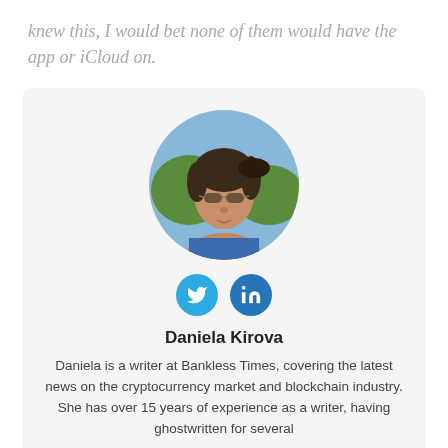knew this, I would bet none of them would have the app or iCloud on.
[Figure (photo): Circular profile photo of Daniela Kirova, a woman wearing sunglasses outdoors with trees in background]
Social icons: Twitter and LinkedIn
Daniela Kirova
Daniela is a writer at Bankless Times, covering the latest news on the cryptocurrency market and blockchain industry. She has over 15 years of experience as a writer, having ghostwritten for several